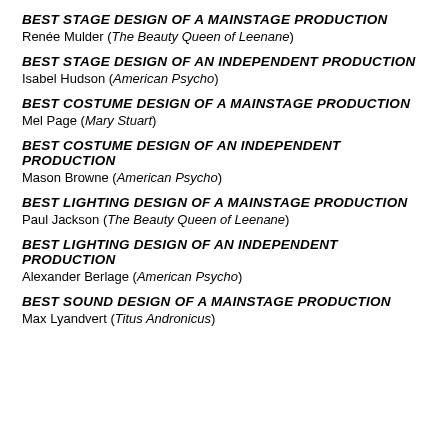BEST STAGE DESIGN OF A MAINSTAGE PRODUCTION
Renée Mulder (The Beauty Queen of Leenane)
BEST STAGE DESIGN OF AN INDEPENDENT PRODUCTION
Isabel Hudson (American Psycho)
BEST COSTUME DESIGN OF A MAINSTAGE PRODUCTION
Mel Page (Mary Stuart)
BEST COSTUME DESIGN OF AN INDEPENDENT PRODUCTION
Mason Browne (American Psycho)
BEST LIGHTING DESIGN OF A MAINSTAGE PRODUCTION
Paul Jackson (The Beauty Queen of Leenane)
BEST LIGHTING DESIGN OF AN INDEPENDENT PRODUCTION
Alexander Berlage (American Psycho)
BEST SOUND DESIGN OF A MAINSTAGE PRODUCTION
Max Lyandvert (Titus Andronicus)